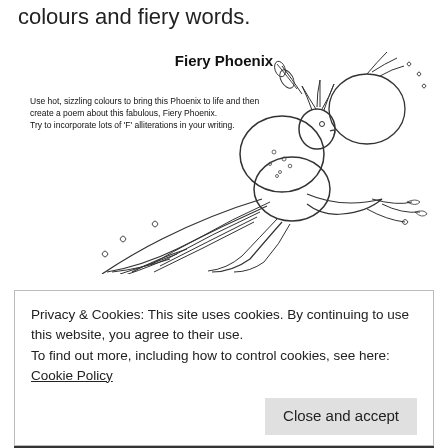colours and fiery words.
[Figure (illustration): A detailed line-art coloring page of a Fiery Phoenix bird with ornate feathers, spread wings, and decorative floral/leaf elements. Title 'Fiery Phoenix' appears above the bird in bold. An instruction text reads: 'Use hot, sizzling colours to bring this Phoenix to life and then create a poem about this fabulous, Fiery Phoenix. Try to incorporate lots of 'F' alliterations in your writing.']
Privacy & Cookies: This site uses cookies. By continuing to use this website, you agree to their use.
To find out more, including how to control cookies, see here: Cookie Policy
Close and accept